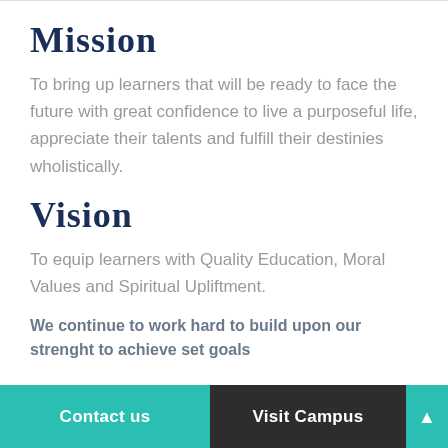Mission
To bring up learners that will be ready to face the future with great confidence to live a purposeful life, appreciate their talents and fulfill their destinies wholistically.
Vision
To equip learners with Quality Education, Moral Values and Spiritual Upliftment.
We continue to work hard to build upon our strenght to achieve set goals
Contact us   Visit Campus   ▲